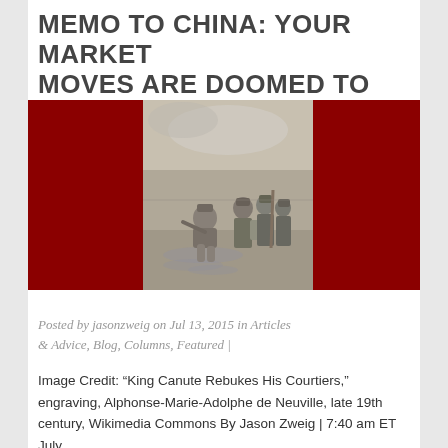MEMO TO CHINA: YOUR MARKET MOVES ARE DOOMED TO FAIL
[Figure (illustration): Illustration with dark red background flanking a central sepia engraving of King Canute rebuking his courtiers — a seated figure in water surrounded by standing armored figures on a shoreline.]
Posted by jasonzweig on Jul 13, 2015 in Articles & Advice, Blog, Columns, Featured |
Image Credit: “King Canute Rebukes His Courtiers,” engraving, Alphonse-Marie-Adolphe de Neuville, late 19th century, Wikimedia Commons By Jason Zweig | 7:40 am ET  July